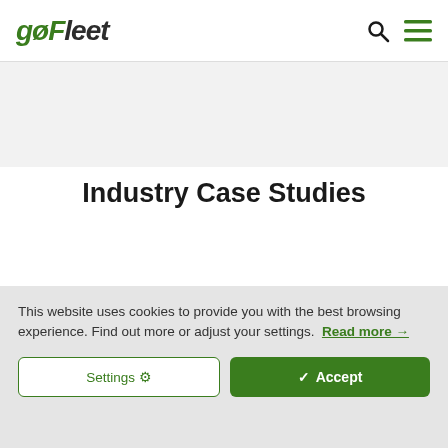gofleet — navigation header with search and menu icons
Industry Case Studies
[Figure (screenshot): Two partially visible thumbnail images at the bottom of the main page — a brown/earth-toned image on the left and a blue-sky aerial image on the right]
This website uses cookies to provide you with the best browsing experience. Find out more or adjust your settings. Read more →
Settings ⚙
✓ Accept